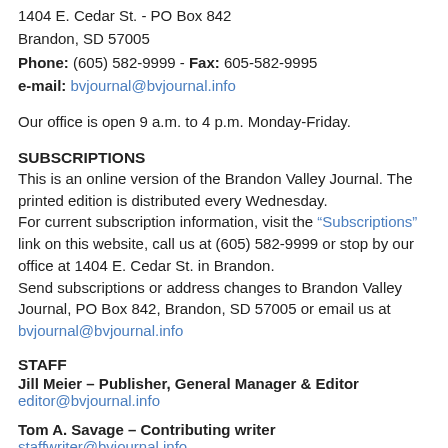1404 E. Cedar St. - PO Box 842
Brandon, SD 57005
Phone: (605) 582-9999 - Fax: 605-582-9995
e-mail: bvjournal@bvjournal.info
Our office is open 9 a.m. to 4 p.m. Monday-Friday.
SUBSCRIPTIONS
This is an online version of the Brandon Valley Journal. The printed edition is distributed every Wednesday.
For current subscription information, visit the “Subscriptions” link on this website, call us at (605) 582-9999 or stop by our office at 1404 E. Cedar St. in Brandon.
Send subscriptions or address changes to Brandon Valley Journal, PO Box 842, Brandon, SD 57005 or email us at bvjournal@bvjournal.info
STAFF
Jill Meier – Publisher, General Manager & Editor
editor@bvjournal.info
Tom A. Savage – Contributing writer
staffwriter@bvjournal.info
Lisa Hove - Office Manager/Classifieds/Subscriptions
BVJournal@bvjournal.info